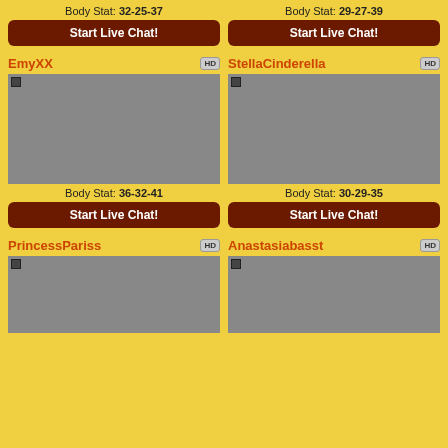Body Stat: 32-25-37
Body Stat: 29-27-39
Start Live Chat!
Start Live Chat!
EmyXX
[Figure (photo): Blonde woman close-up selfie with red lips]
StellaCinderella
[Figure (photo): Blonde woman in black costume]
Body Stat: 36-32-41
Body Stat: 30-29-35
Start Live Chat!
Start Live Chat!
PrincessPariss
[Figure (photo): Dark-haired woman in fishnet outfit]
Anastasiabasst
[Figure (photo): Woman with green-streaked hair in white shirt]